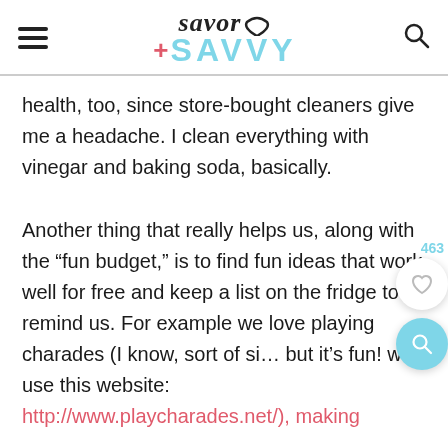Savor + SAVVY
health, too, since store-bought cleaners give me a headache. I clean everything with vinegar and baking soda, basically.
Another thing that really helps us, along with the “fun budget,” is to find fun ideas that work well for free and keep a list on the fridge to remind us. For example we love playing charades (I know, sort of si… but it’s fun! we use this website:
http://www.playcharades.net/), making